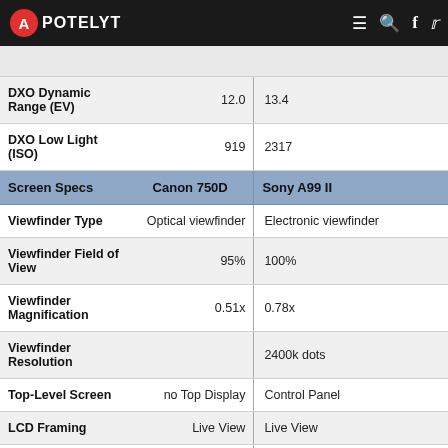APOTELYT
| Screen Specs | Canon 750D | Sony A99 II |
| --- | --- | --- |
| DXO Dynamic Range (EV) | 12.0 | 13.4 |
| DXO Low Light (ISO) | 919 | 2317 |
| Viewfinder Type | Optical viewfinder | Electronic viewfinder |
| Viewfinder Field of View | 95% | 100% |
| Viewfinder Magnification | 0.51x | 0.78x |
| Viewfinder Resolution |  | 2400k dots |
| Top-Level Screen | no Top Display | Control Panel |
| LCD Framing | Live View | Live View |
| Rear LCD Size | 3.0inch | 3.0inch |